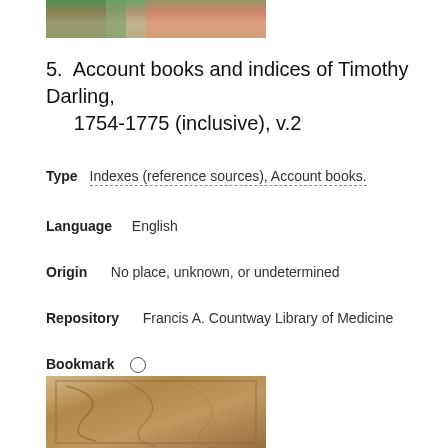[Figure (photo): Top portion of a book cover image, showing green and pink/peach colors]
5. Account books and indices of Timothy Darling, 1754-1775 (inclusive), v.2
Type   Indexes (reference sources), Account books.
Language   English
Origin   No place, unknown, or undetermined
Repository   Francis A. Countway Library of Medicine
Bookmark   ○
[Figure (photo): Bottom portion showing an old book cover with brown/tan worn leather binding]